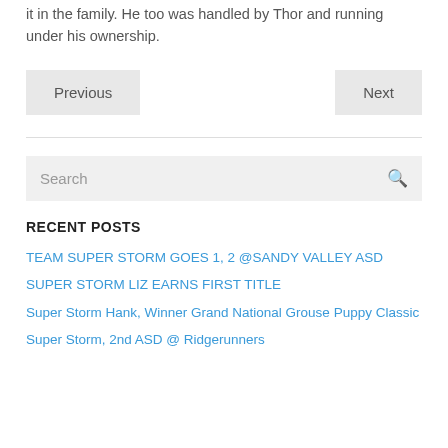it in the family. He too was handled by Thor and running under his ownership.
Previous  |  Next
Search
RECENT POSTS
TEAM SUPER STORM GOES 1, 2 @SANDY VALLEY ASD
SUPER STORM LIZ EARNS FIRST TITLE
Super Storm Hank, Winner Grand National Grouse Puppy Classic
Super Storm, 2nd ASD @ Ridgerunners